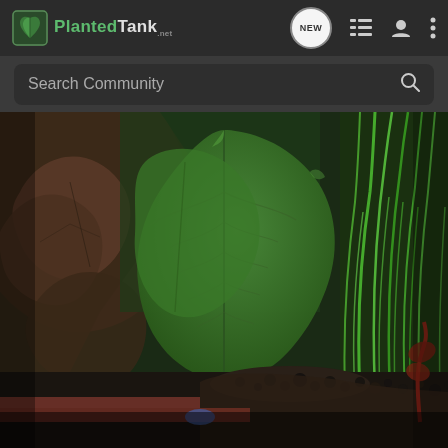Planted Tank — navigation bar with logo, NEW button, list icon, profile icon, menu icon
Search Community
[Figure (photo): Close-up photograph of large green serrated leaves (likely a begonia or similar broad-leaf aquatic/terrarium plant) in a planted tank setup. Left side shows brownish-purple foliage, center features a prominent bright green scalloped leaf with visible veins, right side shows bright green grass-like plants. Bottom shows dark aquatic substrate/soil with pebbles and a reddish plant.]